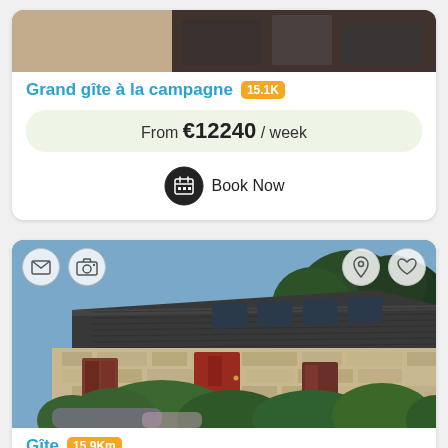[Figure (photo): Top portion of a property listing card — partial interior/exterior photo cropped at top]
Grand gîte à la campagne 15.1K
From €12240 / week
Book Now
[Figure (photo): Stone house with dark corrugated roof, red door, and garden shrubs in front. Four overlay icons: envelope, camera (top-left), location pin, heart (top-right).]
Gîte 15.9Km
From €450 / week